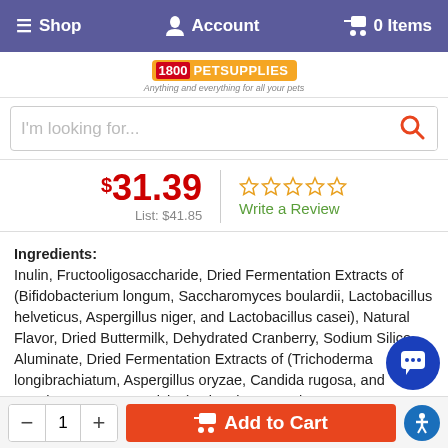Shop   Account   0 Items
[Figure (logo): 1800PetSupplies logo with tagline 'Anything and everything for all your pets']
I'm looking for...
$31.39  List: $41.85   ☆☆☆☆☆  Write a Review
Ingredients: Inulin, Fructooligosaccharide, Dried Fermentation Extracts of (Bifidobacterium longum, Saccharomyces boulardii, Lactobacillus helveticus, Aspergillus niger, and Lactobacillus casei), Natural Flavor, Dried Buttermilk, Dehydrated Cranberry, Sodium Silico Aluminate, Dried Fermentation Extracts of (Trichoderma longibrachiatum, Aspergillus oryzae, Candida rugosa, and Saccharomyces cerevisiae), Vitamin E Supplement, Bromelain, Vitamin A Acetate, Cholecalciferol (Source of Vi...
By Continuing to use our site, you consent to our use of cookies to improve your experience. Learn more
- 1 +   Add to Cart